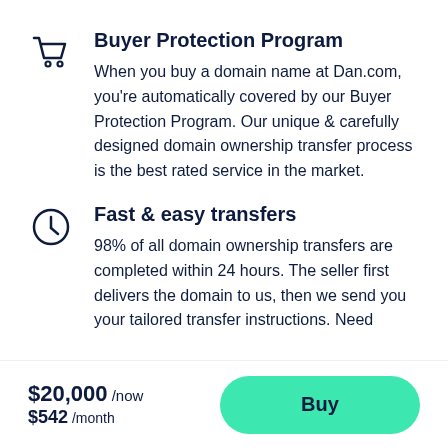Buyer Protection Program
When you buy a domain name at Dan.com, you're automatically covered by our Buyer Protection Program. Our unique & carefully designed domain ownership transfer process is the best rated service in the market.
Fast & easy transfers
98% of all domain ownership transfers are completed within 24 hours. The seller first delivers the domain to us, then we send you your tailored transfer instructions. Need
$20,000 /now
$542 /month
Buy